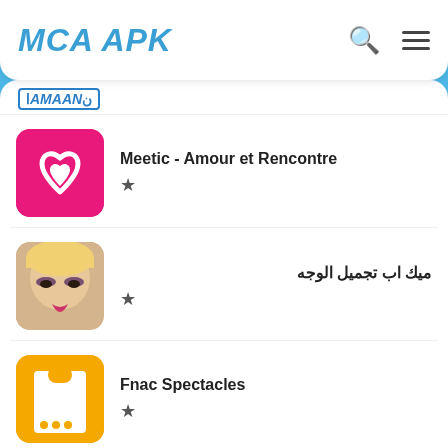MCA APK
[Figure (logo): MCA APK website logo with search and hamburger menu icons]
AMAAN (logo bar)
Meetic - Amour et Rencontre ★
ميك اب تجميل الوجه ★
Fnac Spectacles ★
Biodata Creator ★